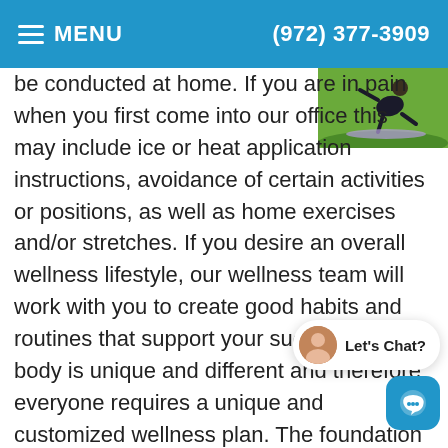MENU | (972) 377-3909
[Figure (photo): Person doing yoga or stretching on a mat outdoors on grass]
be conducted at home. If you are in pain when you first come into our office this may include ice or heat application instructions, avoidance of certain activities or positions, as well as home exercises and/or stretches.  If you desire an overall wellness lifestyle, our wellness team will work with you to create good habits and routines that support your success.  Every body is unique and different and therefore everyone requires a unique and customized wellness plan. The foundation of our overall wellness maintaining healthy posture and good spinal alignment, eating a healthy diet, taking supplements, keeping your weight under control and stress re
[Figure (photo): Live chat widget with avatar and chat icon button]